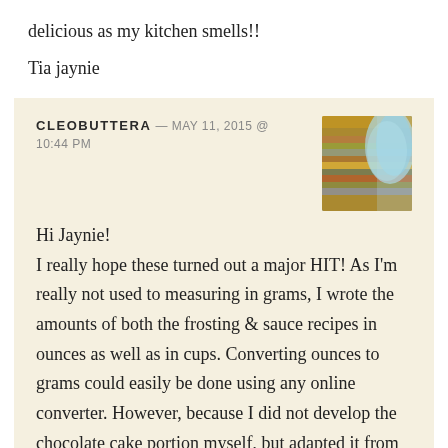delicious as my kitchen smells!!
Tia jaynie
CLEOBUTTERA — MAY 11, 2015 @ 10:44 PM

Hi Jaynie!

I really hope these turned out a major HIT! As I'm really not used to measuring in grams, I wrote the amounts of both the frosting & sauce recipes in ounces as well as in cups. Converting ounces to grams could easily be done using any online converter. However, because I did not develop the chocolate cake portion myself, but adapted it from Food Network, I only have it in cups, since this is